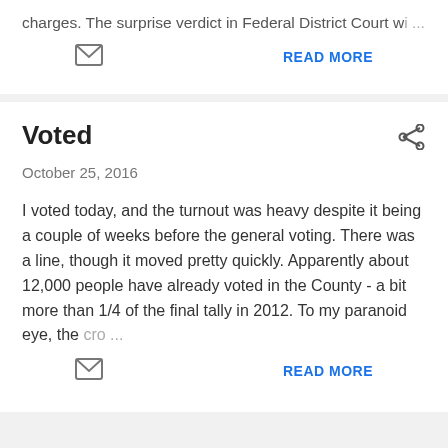charges. The surprise verdict in Federal District Court w...
READ MORE
Voted
October 25, 2016
I voted today, and the turnout was heavy despite it being a couple of weeks before the general voting. There was a line, though it moved pretty quickly. Apparently about 12,000 people have already voted in the County - a bit more than 1/4 of the final tally in 2012. To my paranoid eye, the cro...
READ MORE